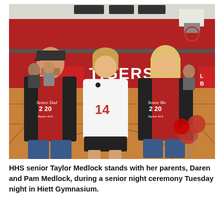[Figure (photo): A high school senior girl in a white volleyball jersey numbered 14 stands between her parents on a gymnasium floor. Her father on the left wears a red and black raglan shirt reading 'Senior Dad 2020 Taylor #14' and a dark cap. Her mother on the right wears a matching red and black raglan shirt reading 'Senior Mom 2020 Taylor #14'. A volleyball net and red gym wall with 'TIGERS' and 'Landmark Bank' signage are visible in the background.]
HHS senior Taylor Medlock stands with her parents, Daren and Pam Medlock, during a senior night ceremony Tuesday night in Hiett Gymnasium.